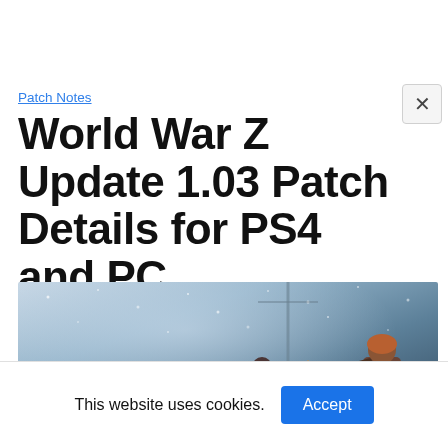Patch Notes
World War Z Update 1.03 Patch Details for PS4 and PC
[Figure (photo): Screenshot from World War Z game showing characters fighting zombies in a snowy, foggy environment with fire/explosion in the background]
This website uses cookies.
Accept